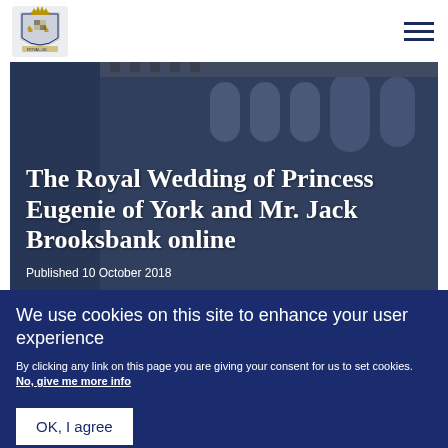[Figure (logo): Royal coat of arms logo for the Royal Family / Royal Household website]
[Figure (photo): Hero image showing a gothic stone building (Windsor Castle chapel), partially obscured, with a large white text overlay]
The Royal Wedding of Princess Eugenie of York and Mr. Jack Brooksbank online
Published 10 October 2018
[Figure (photo): Partial image strip in warm orange/brown tones below the hero area]
We use cookies on this site to enhance your user experience
By clicking any link on this page you are giving your consent for us to set cookies. No, give me more info
OK, I agree